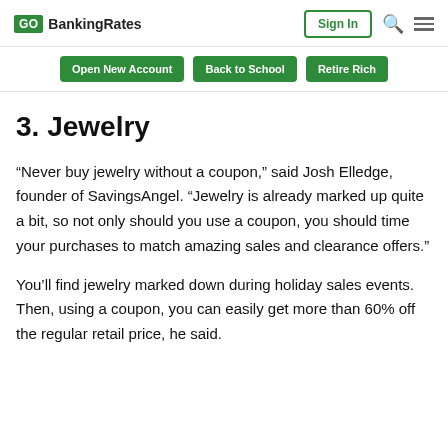GOBankingRates | Sign In
Open New Account | Back to School | Retire Rich
3. Jewelry
“Never buy jewelry without a coupon,” said Josh Elledge, founder of SavingsAngel. “Jewelry is already marked up quite a bit, so not only should you use a coupon, you should time your purchases to match amazing sales and clearance offers.”
You’ll find jewelry marked down during holiday sales events. Then, using a coupon, you can easily get more than 60% off the regular retail price, he said.